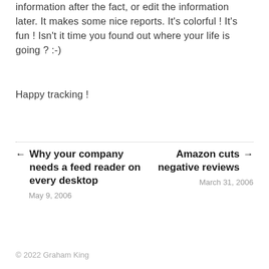information after the fact, or edit the information later. It makes some nice reports. It’s colorful ! It’s fun ! Isn’t it time you found out where your life is going ? :-)
Happy tracking !
← Why your company needs a feed reader on every desktop
May 9, 2006
Amazon → cuts negative reviews
March 31, 2006
© 2022 Graham King